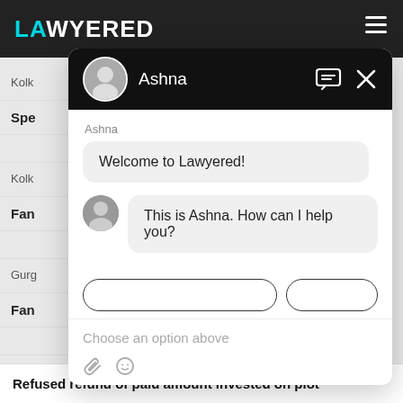LAWYERED
Kolk
Spe
Kolk
Fan
Gurg
Fan
Hyd
[Figure (screenshot): Chat widget overlay showing Ashna chatbot for Lawyered legal service. Header is black with avatar, name 'Ashna', message icon and X close button. Chat shows two bubbles: 'Welcome to Lawyered!' and 'This is Ashna. How can I help you?' with small avatar. Below are two option buttons and placeholder text 'Choose an option above'. Input area at bottom with attachment and emoji icons.]
Refused refund of paid amount invested on plot